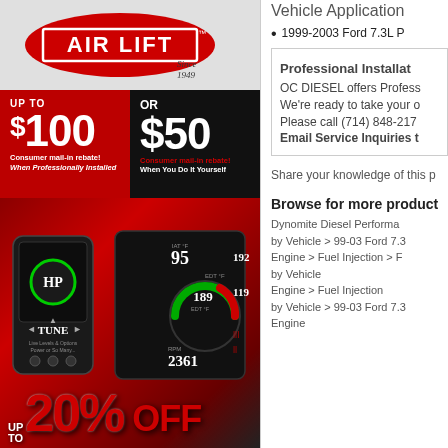[Figure (illustration): Air Lift brand logo on gray banner — red oval with white bordered 'AIR LIFT' text and 'Since 1949' italic text]
[Figure (infographic): Two rebate offer panels: left red panel 'UP TO $100 Consumer mail-in rebate! When Professionally Installed'; right black panel 'OR $50 Consumer mail-in rebate! When You Do It Yourself']
[Figure (photo): Edge products HP Tuner device ad with gauges showing 95, 189, and 2361 RPM readings on dark red background with 'UP TO 20% OFF' text]
Vehicle Application
1999-2003 Ford 7.3L P
Professional Installat
OC DIESEL offers Profess... We're ready to take your o... Please call (714) 848-217... Email Service Inquiries t
Share your knowledge of this p
Browse for more product
Dynomite Diesel Performa... by Vehicle > 99-03 Ford 7.3... Engine > Fuel Injection > F... by Vehicle
Engine > Fuel Injection
by Vehicle > 99-03 Ford 7.3...
Engine